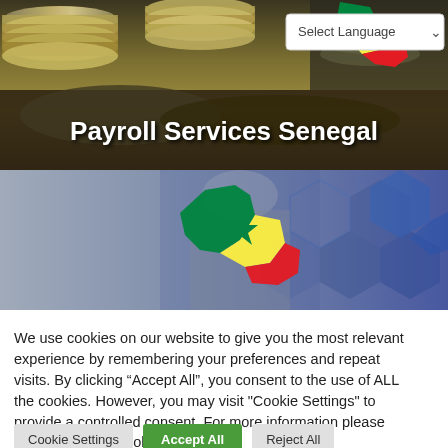[Figure (photo): Banner image of stacked euro coins on a surface with Senegal flag map overlay in top right corner]
Payroll Services Senegal
[Figure (photo): Second banner image showing a person in suit with hexagonal pattern background and Senegal flag-colored map shape overlay]
We use cookies on our website to give you the most relevant experience by remembering your preferences and repeat visits. By clicking “Accept All”, you consent to the use of ALL the cookies. However, you may visit "Cookie Settings" to provide a controlled consent. For more information please read our Privacy Policy
Cookie Settings
Accept All
Reject All